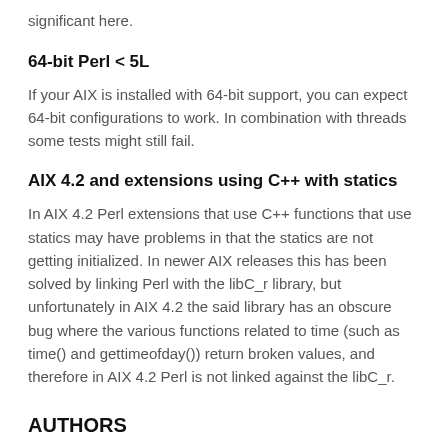significant here.
64-bit Perl < 5L
If your AIX is installed with 64-bit support, you can expect 64-bit configurations to work. In combination with threads some tests might still fail.
AIX 4.2 and extensions using C++ with statics
In AIX 4.2 Perl extensions that use C++ functions that use statics may have problems in that the statics are not getting initialized. In newer AIX releases this has been solved by linking Perl with the libC_r library, but unfortunately in AIX 4.2 the said library has an obscure bug where the various functions related to time (such as time() and gettimeofday()) return broken values, and therefore in AIX 4.2 Perl is not linked against the libC_r.
AUTHORS